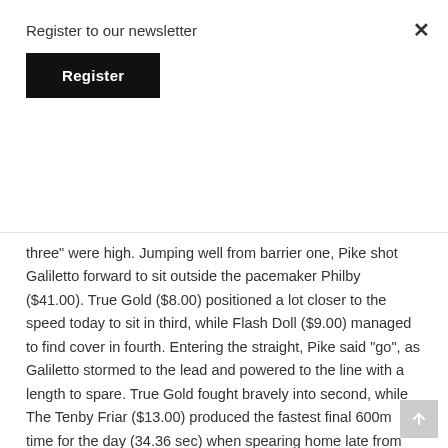Register to our newsletter
Register
three” were high. Jumping well from barrier one, Pike shot Galiletto forward to sit outside the pacemaker Philby ($41.00). True Gold ($8.00) positioned a lot closer to the speed today to sit in third, while Flash Doll ($9.00) managed to find cover in fourth. Entering the straight, Pike said “go”, as Galiletto stormed to the lead and powered to the line with a length to spare. True Gold fought bravely into second, while The Tenby Friar ($13.00) produced the fastest final 600m time for the day (34.36 sec) when spearing home late from well back to claim third.